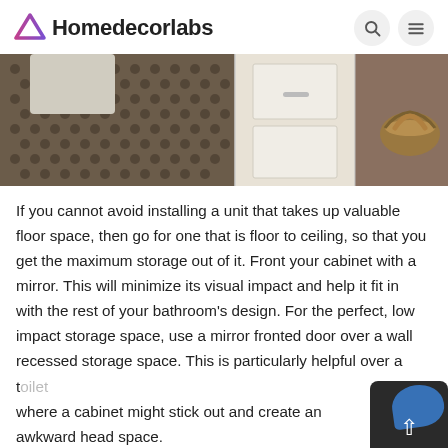Homedecorlabs
[Figure (photo): Bathroom floor with mosaic tile pattern, white cabinet with drawer handle, and basket in the corner]
If you cannot avoid installing a unit that takes up valuable floor space, then go for one that is floor to ceiling, so that you get the maximum storage out of it. Front your cabinet with a mirror. This will minimize its visual impact and help it fit in with the rest of your bathroom’s design. For the perfect, low impact storage space, use a mirror fronted door over a wall recessed storage space. This is particularly helpful over a toilet where a cabinet might stick out and create an awkward head space.